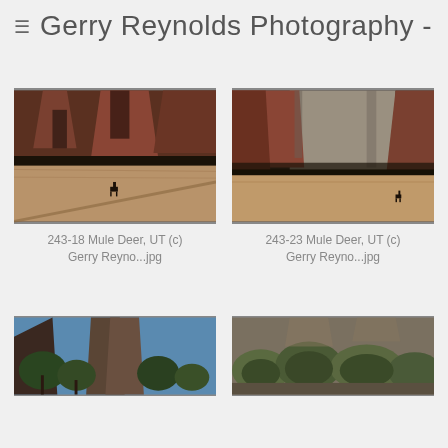Gerry Reynolds Photography -
[Figure (photo): Mule deer in field with red rock canyon formations in background, Utah]
243-18 Mule Deer, UT (c) Gerry Reyno...jpg
[Figure (photo): Mule deer in golden field with large grey and red cliff face in background, Utah]
243-23 Mule Deer, UT (c) Gerry Reyno...jpg
[Figure (photo): Rocky canyon with trees and blue sky]
[Figure (photo): Dense shrub vegetation in rocky landscape]